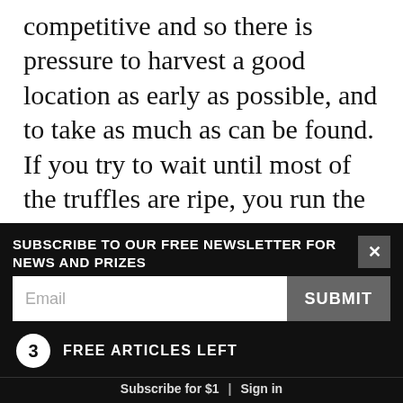competitive and so there is pressure to harvest a good location as early as possible, and to take as much as can be found. If you try to wait until most of the truffles are ripe, you run the risk of someone getting to the spot first. Efforts are being made to improve quality, and to encourage people to harvest with dogs, but it's an uphill struggle. The Oregon experience also begs an interesting question about the harvest in China. If the Yunnanese harvesters were to use dogs so that Tuber indicum was only harvested when properly ripe, would the culinary
SUBSCRIBE TO OUR FREE NEWSLETTER FOR NEWS AND PRIZES
3 FREE ARTICLES LEFT
Subscribe for $1 | Sign in